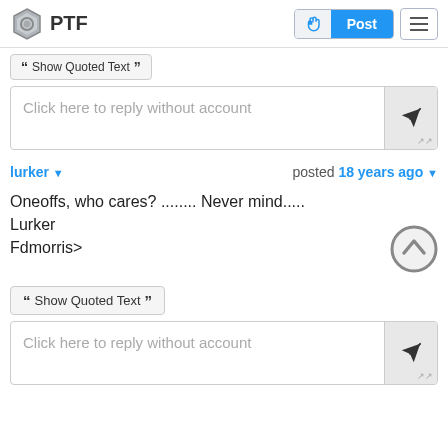PTF
Show Quoted Text
Click here to reply without account
lurker  posted 18 years ago
Oneoffs, who cares? ........ Never mind.....
Lurker
Fdmorris>
Show Quoted Text
Click here to reply without account